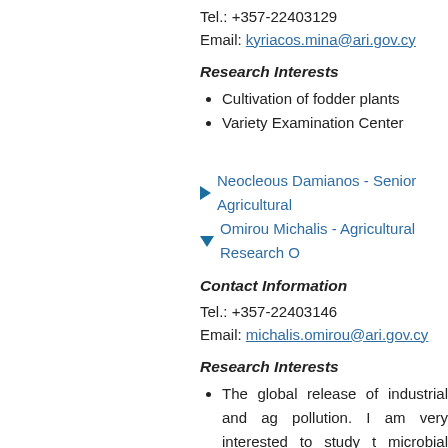Tel.: +357-22403129
Email: kyriacos.mina@ari.gov.cy
Research Interests
Cultivation of fodder plants
Variety Examination Center
Neocleous Damianos - Senior Agricultural
Omirou Michalis - Agricultural Research O
Contact Information
Tel.: +357-22403146
Email: michalis.omirou@ari.gov.cy
Research Interests
The global release of industrial and ag pollution. I am very interested to study t microbial communities using biochemi implementation of analytical chemistry r help us to understand their relation with
The isolation of microorganisms from agriculture, industry and the environmen solubilizing bacteria are important micro